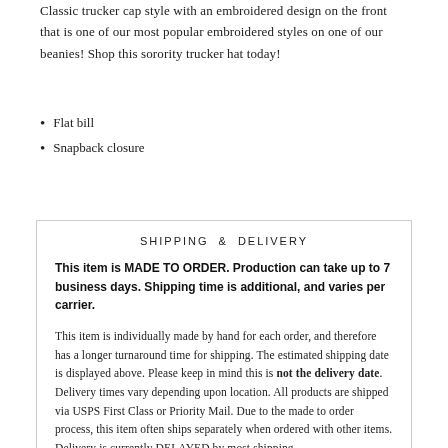Classic trucker cap style with an embroidered design on the front that is one of our most popular embroidered styles on one of our beanies! Shop this sorority trucker hat today!
Flat bill
Snapback closure
SHIPPING & DELIVERY
This item is MADE TO ORDER. Production can take up to 7 business days. Shipping time is additional, and varies per carrier.
This item is individually made by hand for each order, and therefore has a longer turnaround time for shipping. The estimated shipping date is displayed above. Please keep in mind this is not the delivery date. Delivery times vary depending upon location. All products are shipped via USPS First Class or Priority Mail. Due to the made to order process, this item often ships separately when ordered with other items. Delivery is currently DELAYED by most shipping carriers.